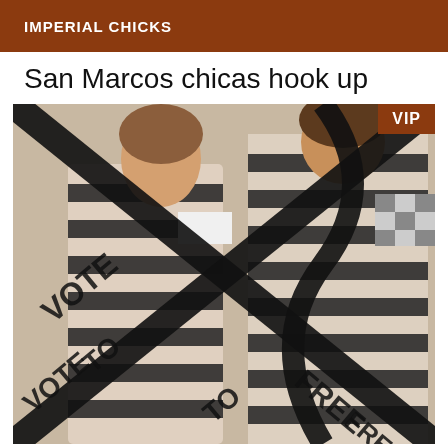IMPERIAL CHICKS
San Marcos chicas hook up
[Figure (photo): Two women wearing black and white striped clothing, faces blurred/censored with white/gray rectangles, with heavy black diagonal watermark lines and text overlay across the entire image. A brown 'VIP' badge appears in the top right corner of the image.]